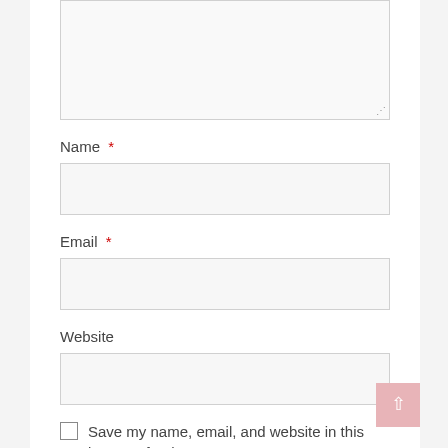[Figure (screenshot): Textarea input stub at the top of the page, partially visible, with a resize handle at bottom-right]
Name *
[Figure (screenshot): Text input field for Name]
Email *
[Figure (screenshot): Text input field for Email]
Website
[Figure (screenshot): Text input field for Website with a pink back-to-top button overlaid at the right]
Save my name, email, and website in this browser for the